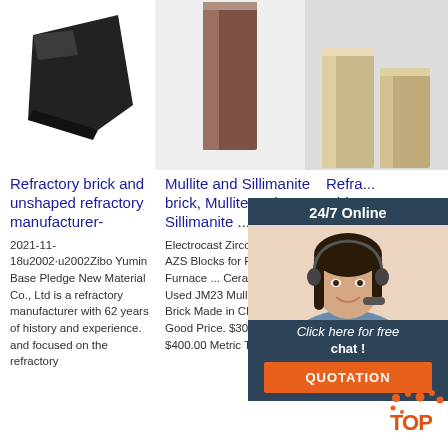[Figure (photo): Three product images of refractory bricks: dark angular brick on left, brown pillar brick in center, beige/cream colored bricks on right]
Refractory brick and unshaped refractory manufacturer-
Mullite and Sillimanite brick, Mullite and Sillimanite ...
Refra... China Refra... Brick. Mate...
2021-11-18u2002·u2002Zibo Yumin Base Pledge New Material Co., Ltd is a refractory manufacturer with 62 years of history and experience. and focused on the refractory
Electrocast Zircon Corundum AZS Blocks for Float Glass Furnace ... Ceramic Kiln Used JM23 Mullite Insulating Brick Made in China with Good Price. $300.00 - $400.00 Metric Ton. 1.0
View r... Refrac... manufa... Made-... China. category presents Refractory Brick Building Material, from China Refractory suppliers to global
[Figure (infographic): 24/7 Online chat widget with a customer service agent photo, 'Click here for free chat!' text, and orange QUOTATION button with dark blue background]
[Figure (logo): TOP badge with orange dots and text]